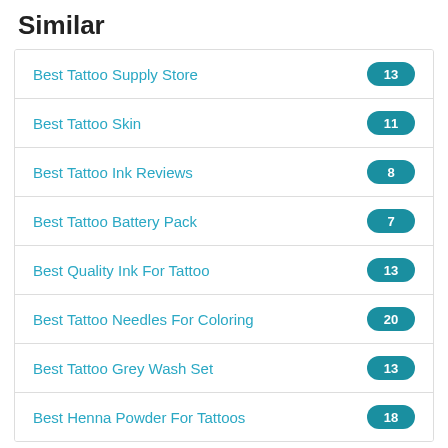Similar
Best Tattoo Supply Store
Best Tattoo Skin
Best Tattoo Ink Reviews
Best Tattoo Battery Pack
Best Quality Ink For Tattoo
Best Tattoo Needles For Coloring
Best Tattoo Grey Wash Set
Best Henna Powder For Tattoos